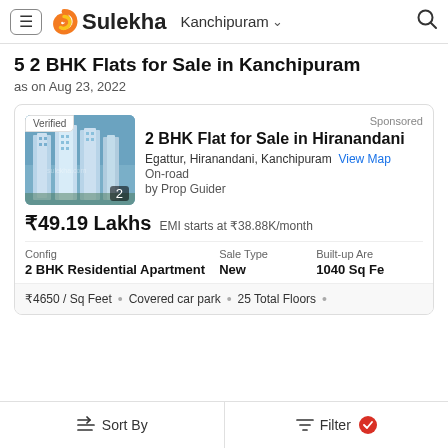Sulekha  Kanchipuram
5 2 BHK Flats for Sale in Kanchipuram
as on Aug 23, 2022
Sponsored
2 BHK Flat for Sale in Hiranandani
Egattur, Hiranandani, Kanchipuram  View Map
On-road
by Prop Guider
₹49.19 Lakhs  EMI starts at ₹38.88K/month
Config: 2 BHK Residential Apartment  Sale Type: New  Built-up Area: 1040 Sq Fe
₹4650 / Sq Feet • Covered car park • 25 Total Floors •
Sort By    Filter